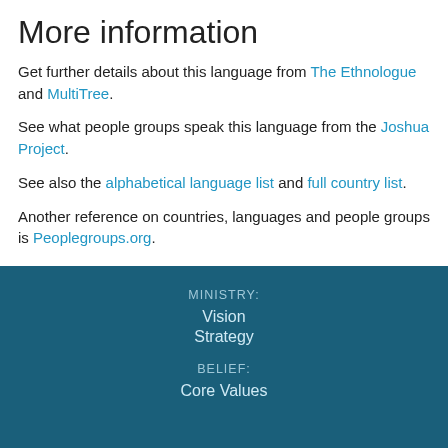More information
Get further details about this language from The Ethnologue and MultiTree.
See what people groups speak this language from the Joshua Project.
See also the alphabetical language list and full country list.
Another reference on countries, languages and people groups is Peoplegroups.org.
MINISTRY:
Vision
Strategy
BELIEF:
Core Values